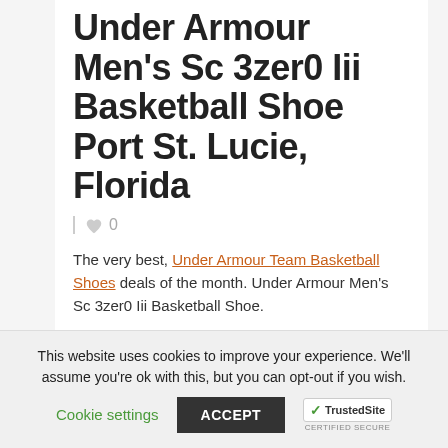Under Armour Men's Sc 3zer0 Iii Basketball Shoe Port St. Lucie, Florida
♥ 0
The very best, Under Armour Team Basketball Shoes deals of the month. Under Armour Men's Sc 3zer0 Iii Basketball Shoe.
This website uses cookies to improve your experience. We'll assume you're ok with this, but you can opt-out if you wish.
Cookie settings  ACCEPT